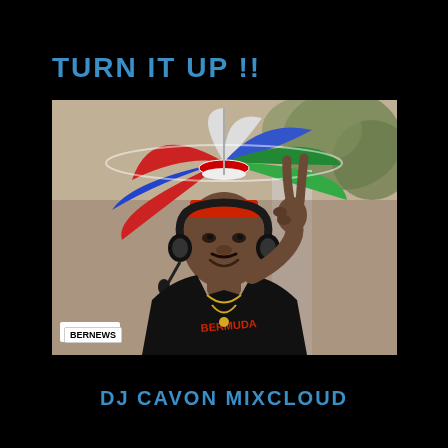TURN IT UP !!
[Figure (photo): A man wearing a colorful umbrella hat (red, white, blue, and green) with headphones around his neck, making a peace sign, wearing a black Bermuda t-shirt. Photo credited to BERNEWS.]
DJ CAVON MIXCLOUD